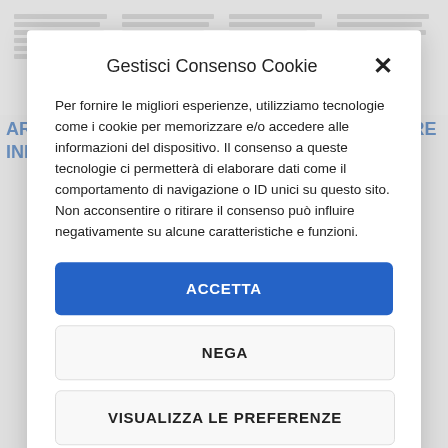[Figure (screenshot): Background webpage screenshot showing multi-column lorem ipsum text content in gray tones]
AREA53 – A Responsive WordPress Theme MORE INFO / DEMO
Gestisci Consenso Cookie
Per fornire le migliori esperienze, utilizziamo tecnologie come i cookie per memorizzare e/o accedere alle informazioni del dispositivo. Il consenso a queste tecnologie ci permetterà di elaborare dati come il comportamento di navigazione o ID unici su questo sito. Non acconsentire o ritirare il consenso può influire negativamente su alcune caratteristiche e funzioni.
ACCETTA
NEGA
VISUALIZZA LE PREFERENZE